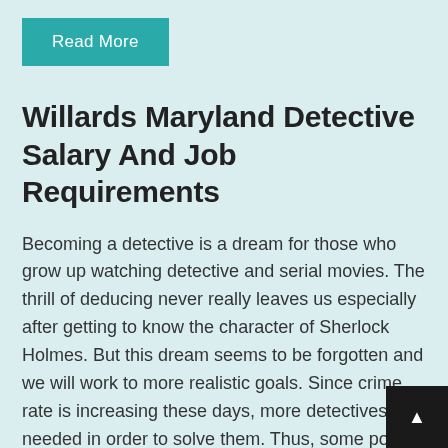Read More
Willards Maryland Detective Salary And Job Requirements
Becoming a detective is a dream for those who grow up watching detective and serial movies. The thrill of deducing never really leaves us especially after getting to know the character of Sherlock Holmes. But this dream seems to be forgotten and we will work to more realistic goals. Since crime rate is increasing these days, more detectives are needed in order to solve them. Thus, some police officers step up and exhibiting what Sherlock Holmes does. For those of you who still haven't given up on your